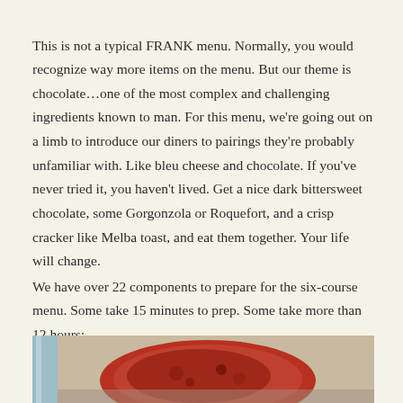This is not a typical FRANK menu.  Normally, you would recognize way more items on the menu.  But our theme is chocolate…one of the most complex and challenging ingredients known to man.  For this menu, we're going out on a limb to introduce our diners to pairings they're probably unfamiliar with.  Like bleu cheese and chocolate.  If you've never tried it, you haven't lived.  Get a nice dark bittersweet chocolate, some Gorgonzola or Roquefort, and a crisp cracker like Melba toast, and eat them together.  Your life will change.
We have over 22 components to prepare for the six-course menu.  Some take 15 minutes to prep.  Some take more than 12 hours:
[Figure (photo): A photo showing what appears to be food or a cooking preparation, with a grey/blue element on the left and a red/brown food item on the right, partially cropped at the bottom of the page.]